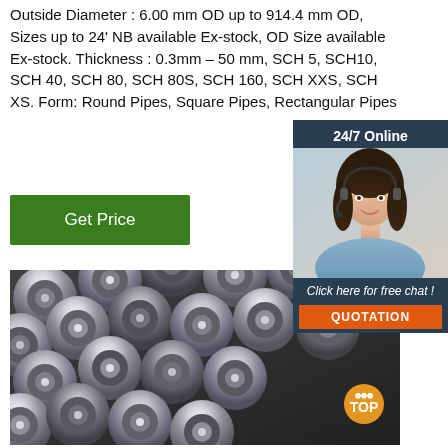Outside Diameter : 6.00 mm OD up to 914.4 mm OD, Sizes up to 24' NB available Ex-stock, OD Size available Ex-stock. Thickness : 0.3mm – 50 mm, SCH 5, SCH10, SCH 40, SCH 80, SCH 80S, SCH 160, SCH XXS, SCH XS. Form: Round Pipes, Square Pipes, Rectangular Pipes
[Figure (other): Green 'Get Price' button]
[Figure (other): Chat widget with woman customer support agent, '24/7 Online' header, 'Click here for free chat!' text, and orange QUOTATION button]
[Figure (photo): Photo of multiple round steel pipes/rods arranged in parallel, viewed from the end, showing circular cross-sections]